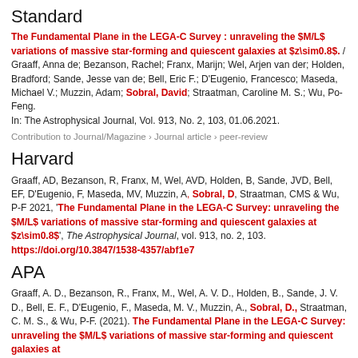Standard
The Fundamental Plane in the LEGA-C Survey : unraveling the $M/L$ variations of massive star-forming and quiescent galaxies at $z\sim0.8$. / Graaff, Anna de; Bezanson, Rachel; Franx, Marijn; Wel, Arjen van der; Holden, Bradford; Sande, Jesse van de; Bell, Eric F.; D'Eugenio, Francesco; Maseda, Michael V.; Muzzin, Adam; Sobral, David; Straatman, Caroline M. S.; Wu, Po-Feng.
In: The Astrophysical Journal, Vol. 913, No. 2, 103, 01.06.2021.
Contribution to Journal/Magazine › Journal article › peer-review
Harvard
Graaff, AD, Bezanson, R, Franx, M, Wel, AVD, Holden, B, Sande, JVD, Bell, EF, D'Eugenio, F, Maseda, MV, Muzzin, A, Sobral, D, Straatman, CMS & Wu, P-F 2021, 'The Fundamental Plane in the LEGA-C Survey: unraveling the $M/L$ variations of massive star-forming and quiescent galaxies at $z\sim0.8$', The Astrophysical Journal, vol. 913, no. 2, 103. https://doi.org/10.3847/1538-4357/abf1e7
APA
Graaff, A. D., Bezanson, R., Franx, M., Wel, A. V. D., Holden, B., Sande, J. V. D., Bell, E. F., D'Eugenio, F., Maseda, M. V., Muzzin, A., Sobral, D., Straatman, C. M. S., & Wu, P-F. (2021). The Fundamental Plane in the LEGA-C Survey: unraveling the $M/L$ variations of massive star-forming and quiescent galaxies at